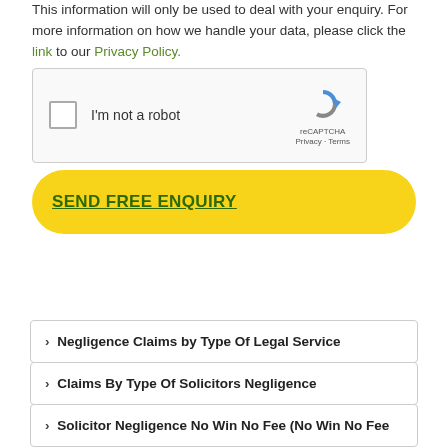This information will only be used to deal with your enquiry. For more information on how we handle your data, please click the link to our Privacy Policy.
[Figure (other): reCAPTCHA widget with checkbox labeled 'I'm not a robot' and reCAPTCHA logo with Privacy and Terms links]
SEND FREE ENQUIRY
› Negligence Claims by Type Of Legal Service
› Claims By Type Of Solicitors Negligence
› Solicitor Negligence No Win No Fee (No Win No Fee...